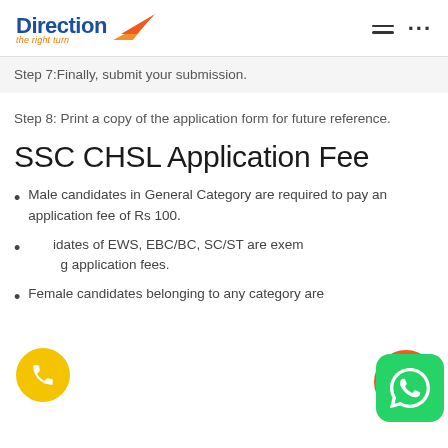Direction – the right turn
Step 7:Finally, submit your submission.
Step 8: Print a copy of the application form for future reference.
SSC CHSL Application Fee
Male candidates in General Category are required to pay an application fee of Rs 100.
Candidates of EWS, EBC/BC, SC/ST are exempted from paying application fees.
Female candidates belonging to any category are…